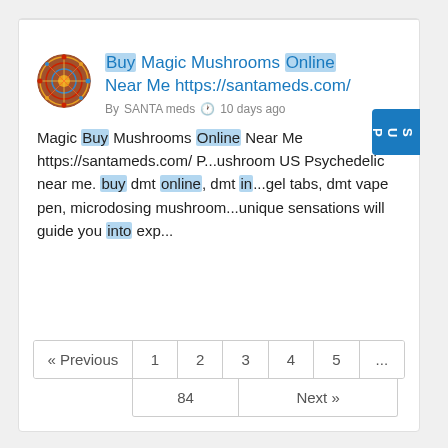Buy Magic Mushrooms Online Near Me https://santameds.com/
By SANTA meds  🕐 10 days ago
Magic Buy Mushrooms Online Near Me https://santameds.com/ P...ushroom US Psychedelic near me. buy dmt online, dmt in...gel tabs, dmt vape pen, microdosing mushroom...unique sensations will guide you into exp...
« Previous  1  2  3  4  5  ...  84  Next »